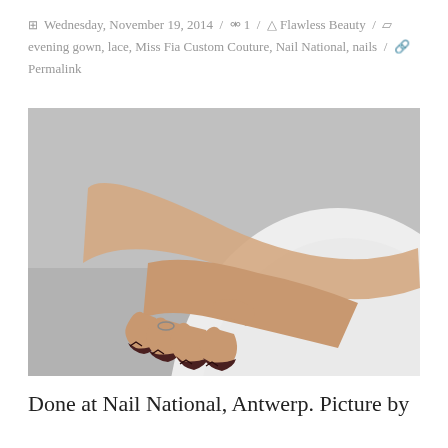Wednesday, November 19, 2014 / 1 / Flawless Beauty / evening gown, lace, Miss Fia Custom Couture, Nail National, nails / Permalink
[Figure (photo): A woman's hand with decorated nails (dark tips/chevron pattern) resting on the rounded back of a white chair, against a grey background.]
Done at Nail National, Antwerp. Picture by